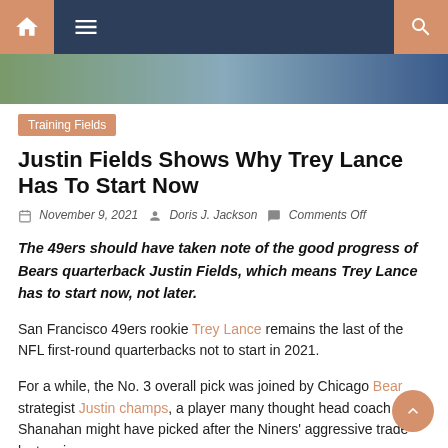Navigation bar with home, menu, and search icons
[Figure (photo): Partial hero image showing sports players]
Training Fields
Justin Fields Shows Why Trey Lance Has To Start Now
November 9, 2021  Doris J. Jackson  Comments Off
The 49ers should have taken note of the good progress of Bears quarterback Justin Fields, which means Trey Lance has to start now, not later.
San Francisco 49ers rookie Trey Lance remains the last of the NFL first-round quarterbacks not to start in 2021.
For a while, the No. 3 overall pick was joined by Chicago Bear strategist Justin champs, a player many thought head coach Kyle Shanahan might have picked after the Niners' aggressive trade last spring.